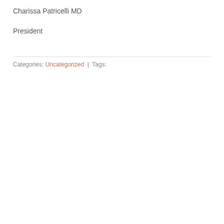Charissa Patricelli MD
President
Categories: Uncategorized  |  Tags: